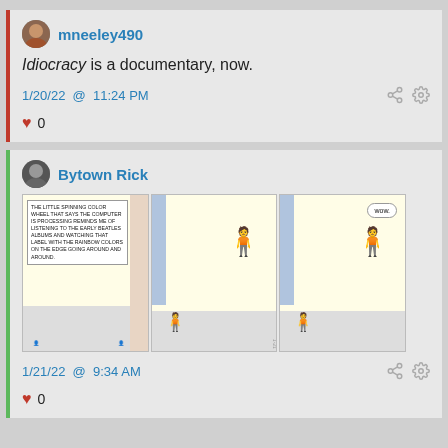mneeley490
Idiocracy is a documentary, now.
1/20/22 @ 11:24 PM
0
Bytown Rick
[Figure (illustration): A three-panel comic strip. Panel 1: A man at computer with thought bubble reading 'THE LITTLE SPINNING COLOR WHEEL THAT SAYS THE COMPUTER IS PROCESSING REMINDS ME OF LISTENING TO THE EARLY BEATLES ALBUMS AND WATCHING THAT LABEL WITH THE RAINBOW COLORS ON THE EDGE GOING AROUND AND AROUND.' A woman stands behind him. Panel 2: Woman stands with arms crossed looking at man. Panel 3: Woman says 'WOW' in speech bubble, still arms crossed, man still at computer.]
1/21/22 @ 9:34 AM
0